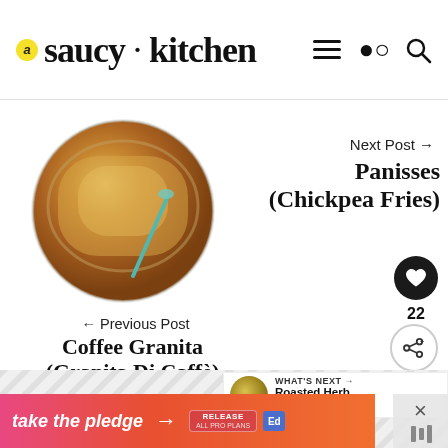a saucy kitchen
[Figure (photo): Circular photo of Coffee Granita (Granita Di Caffè) in a bowl with a spoon]
← Previous Post
Coffee Granita (Granita Di Caffè)
Next Post →
Panisses (Chickpea Fries)
22
[Figure (photo): Small circular thumbnail of Roasted Herb & Lentil Salad]
WHAT'S NEXT → Roasted Herb & Lentil Salad
Leave A Review!
take the pledge →